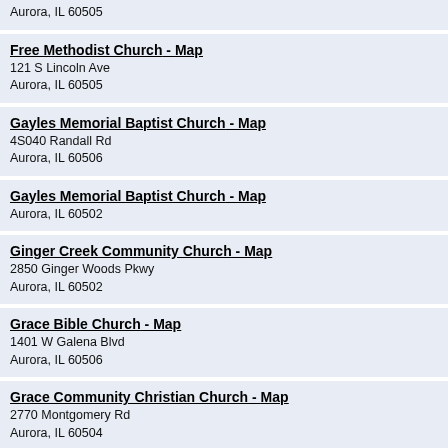Aurora, IL 60505
Free Methodist Church - Map
121 S Lincoln Ave
Aurora, IL 60505
Gayles Memorial Baptist Church - Map
4S040 Randall Rd
Aurora, IL 60506
Gayles Memorial Baptist Church - Map
Aurora, IL 60502
Ginger Creek Community Church - Map
2850 Ginger Woods Pkwy
Aurora, IL 60502
Grace Bible Church - Map
1401 W Galena Blvd
Aurora, IL 60506
Grace Community Christian Church - Map
2770 Montgomery Rd
Aurora, IL 60504
Grace Deliverance Outeach Ministries & Child Care Center - Map
229 W Galena Blvd
Aurora, IL 60506